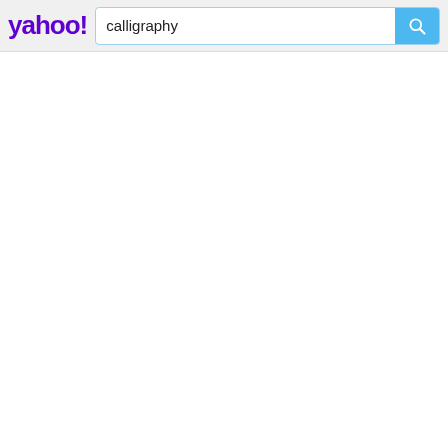[Figure (screenshot): Yahoo search bar header with Yahoo! logo in purple on the left, a search input box containing the text 'calligraphy', and a blue search button with a magnifying glass icon on the right. The header has a light gray background. The rest of the page is blank white.]